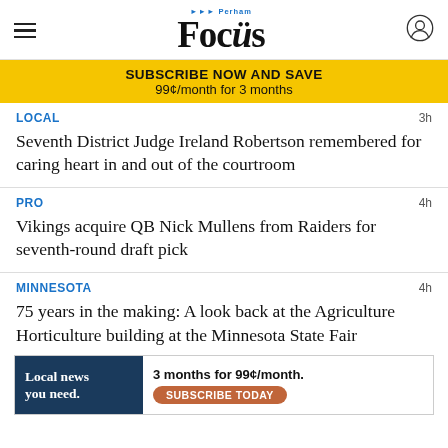Perham Focus
SUBSCRIBE NOW AND SAVE
99¢/month for 3 months
LOCAL
3h
Seventh District Judge Ireland Robertson remembered for caring heart in and out of the courtroom
PRO
4h
Vikings acquire QB Nick Mullens from Raiders for seventh-round draft pick
MINNESOTA
4h
75 years in the making: A look back at the Agriculture Horticulture building at the Minnesota State Fair
[Figure (other): Bottom advertisement banner: Local news you need. 3 months for 99¢/month. SUBSCRIBE TODAY]